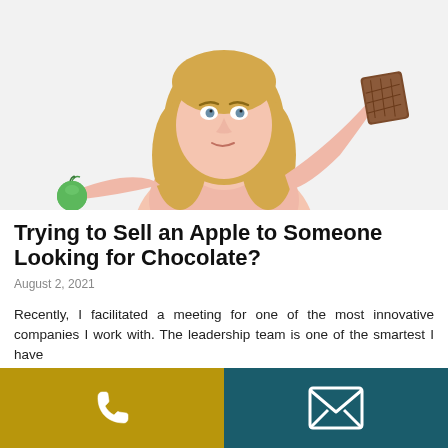[Figure (photo): A blonde woman in a pink top holding a green apple in her left palm and a chocolate bar in her right hand raised, looking uncertain or conflicted, against a white/light grey background.]
Trying to Sell an Apple to Someone Looking for Chocolate?
August 2, 2021
Recently, I facilitated a meeting for one of the most innovative companies I work with. The leadership team is one of the smartest I have
[Figure (infographic): Footer bar with two sections: left golden/yellow section with a white phone icon, right teal/dark cyan section with a white envelope/mail icon.]